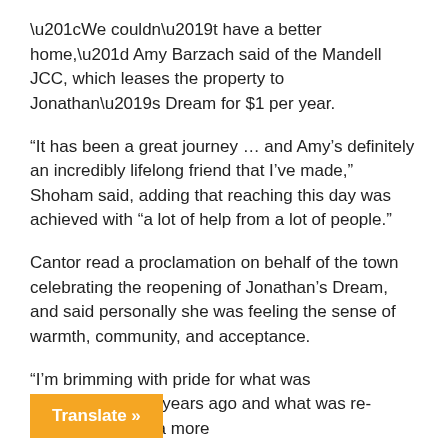“We couldn’t have a better home,” Amy Barzach said of the Mandell JCC, which leases the property to Jonathan’s Dream for $1 per year.
“It has been a great journey … and Amy’s definitely an incredibly lifelong friend that I’ve made,” Shoham said, adding that reaching this day was achieved with “a lot of help from a lot of people.”
Cantor read a proclamation on behalf of the town celebrating the reopening of Jonathan’s Dream, and said personally she was feeling the sense of warmth, community, and acceptance.
“I’m brimming with pride for what was accomplished 23 years ago and what was re-accomplished in a more
Translate »